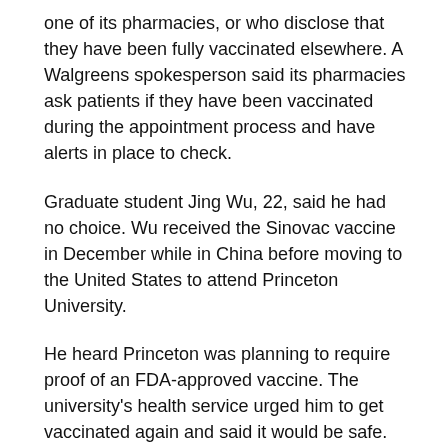one of its pharmacies, or who disclose that they have been fully vaccinated elsewhere. A Walgreens spokesperson said its pharmacies ask patients if they have been vaccinated during the appointment process and have alerts in place to check.
Graduate student Jing Wu, 22, said he had no choice. Wu received the Sinovac vaccine in December while in China before moving to the United States to attend Princeton University.
He heard Princeton was planning to require proof of an FDA-approved vaccine. The university's health service urged him to get vaccinated again and said it would be safe.
He was not reassured.
“I…